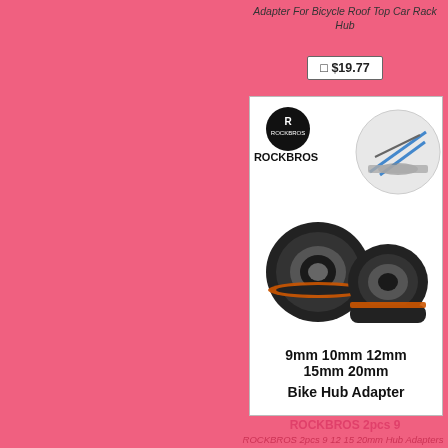Adapter For Bicycle Roof Top Car Rack Hub
□ $19.77
[Figure (photo): ROCKBROS branded product photo showing two black rubber bike hub adapters with orange accent rings, and a circular inset image showing the product installed on a car roof rack. Text reads: 9mm 10mm 12mm 15mm 20mm Bike Hub Adapter]
ROCKBROS 2pcs 9
ROCKBROS 2pcs 9 12 15 20mm Hub Adapters Bicycle Roof Top Car Rack Hub Convertor